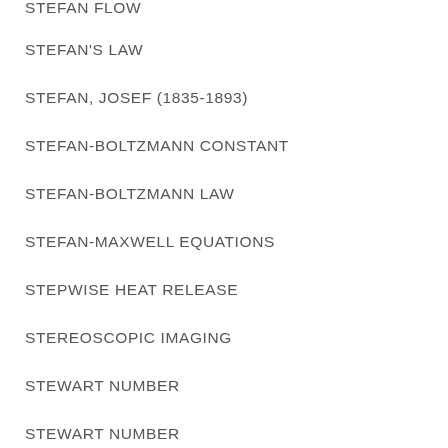STEFAN FLOW
STEFAN'S LAW
STEFAN, JOSEF (1835-1893)
STEFAN-BOLTZMANN CONSTANT
STEFAN-BOLTZMANN LAW
STEFAN-MAXWELL EQUATIONS
STEPWISE HEAT RELEASE
STEREOSCOPIC IMAGING
STEWART NUMBER
STEWART NUMBER
STEWARTSON TYPE FLOW